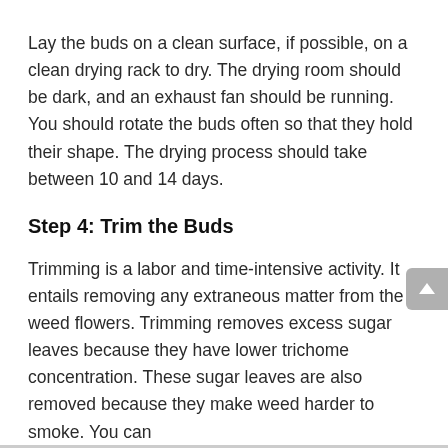Lay the buds on a clean surface, if possible, on a clean drying rack to dry. The drying room should be dark, and an exhaust fan should be running. You should rotate the buds often so that they hold their shape. The drying process should take between 10 and 14 days.
Step 4: Trim the Buds
Trimming is a labor and time-intensive activity. It entails removing any extraneous matter from the weed flowers. Trimming removes excess sugar leaves because they have lower trichome concentration. These sugar leaves are also removed because they make weed harder to smoke. You can